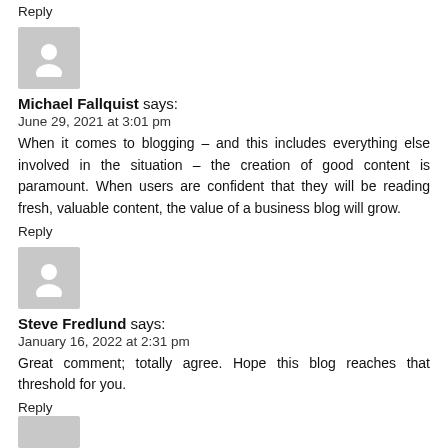Reply
[Figure (illustration): Generic user avatar icon - grey square with white silhouette of a person]
Michael Fallquist says:
June 29, 2021 at 3:01 pm
When it comes to blogging – and this includes everything else involved in the situation – the creation of good content is paramount. When users are confident that they will be reading fresh, valuable content, the value of a business blog will grow.
Reply
[Figure (illustration): Generic user avatar icon - grey square with white silhouette of a person]
Steve Fredlund says:
January 16, 2022 at 2:31 pm
Great comment; totally agree. Hope this blog reaches that threshold for you.
Reply
[Figure (illustration): Generic user avatar icon - grey square with white silhouette of a person (partially visible at bottom)]